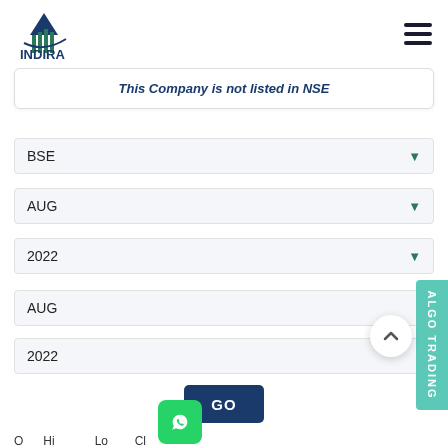INDIRA Gateway to Prosperity
This Company is not listed in NSE
BSE
AUG
2022
AUG
2022
GO
ALGO TRADING